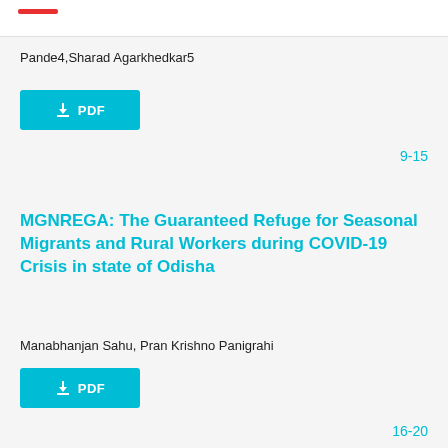Pande4,Sharad Agarkhedkar5
[Figure (other): Download PDF button (cyan/blue background, white text, download icon) for first article]
9-15
MGNREGA: The Guaranteed Refuge for Seasonal Migrants and Rural Workers during COVID-19 Crisis in state of Odisha
Manabhanjan Sahu, Pran Krishno Panigrahi
[Figure (other): Download PDF button (cyan/blue background, white text, download icon) for second article]
16-20